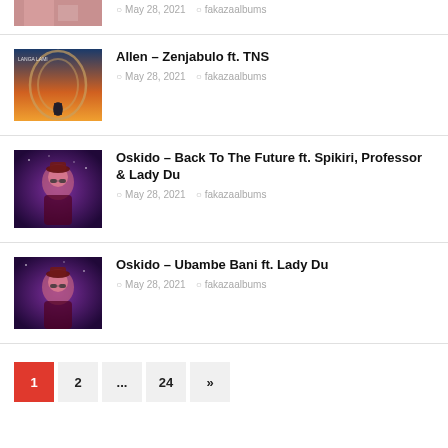[Figure (photo): Partial album artwork at top of page (cropped)]
May 28, 2021  fakazaalbums
[Figure (photo): Album artwork for Allen – Zenjabulo ft. TNS]
Allen – Zenjabulo ft. TNS
May 28, 2021  fakazaalbums
[Figure (photo): Album artwork for Oskido – Back To The Future ft. Spikiri, Professor & Lady Du]
Oskido – Back To The Future ft. Spikiri, Professor & Lady Du
May 28, 2021  fakazaalbums
[Figure (photo): Album artwork for Oskido – Ubambe Bani ft. Lady Du]
Oskido – Ubambe Bani ft. Lady Du
May 28, 2021  fakazaalbums
1  2  ...  24  »